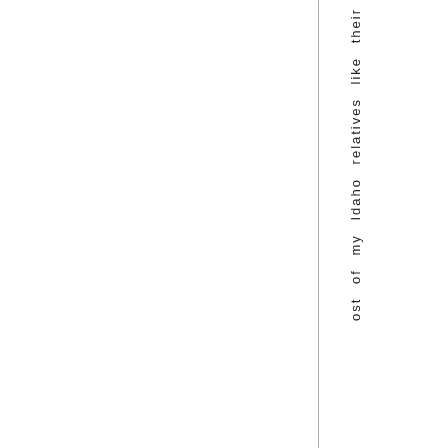ost of my Idaho relatives like their